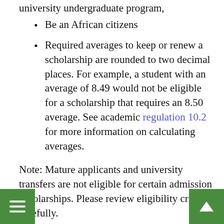university undergraduate program,
Be an African citizens
Required averages to keep or renew a scholarship are rounded to two decimal places. For example, a student with an average of 8.49 would not be eligible for a scholarship that requires an 8.50 average. See academic regulation 10.2 for more information on calculating averages.
Note: Mature applicants and university transfers are not eligible for certain admission scholarships. Please review eligibility criteria carefully.
Application Procedures
How-to-Apply: Interested applicants are required to find out what your options are